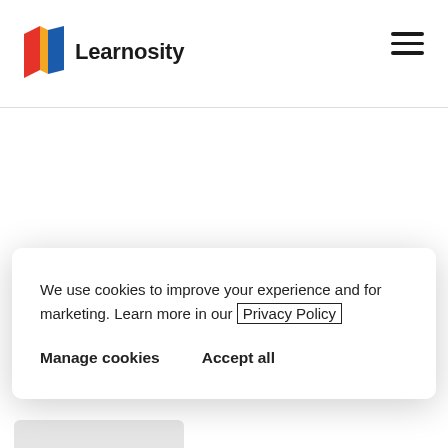Learnosity
We use cookies to improve your experience and for marketing. Learn more in our Privacy Policy
Manage cookies   Accept all
options that give you the freedom to create question experiences that fit the specific needs of your authors and learners.